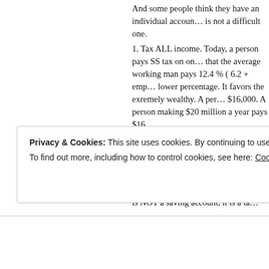And some people think they have an individual account... is not a difficult one. 1. Tax ALL income. Today, a person pays SS tax on on... that the average working man pays 12.4 % ( 6.2 + emp... lower percentage. It favors the exremely wealthy. A per... $16,000. A person making $20 million a year pays $16... 2. Means test the distribution of funds. SS is supposed ... working class who had few assets. Anyone with a retire... not receive it.Anyone with a retirement income of $100... on a sliding scale. It is NOT a saving account, it is a ta...
Liked by 1 person
Privacy & Cookies: This site uses cookies. By continuing to use this website, you agree to their use. To find out more, including how to control cookies, see here: Cookie Policy